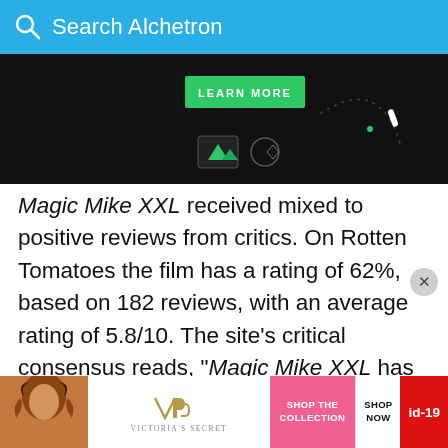Search Alchetron
[Figure (screenshot): Dark advertisement banner with green LEARN MORE button and dotted game-like interface on black background]
Magic Mike XXL received mixed to positive reviews from critics. On Rotten Tomatoes the film has a rating of 62%, based on 182 reviews, with an average rating of 5.8/10. The site's critical consensus reads, "Magic Mike XXL has enough narrative thrust and beefy charm to deliver another helping of well-oiled entertainment, even if this sequel isn't quite as pleasurable as its predecessor." On Metacritic the film has a score of 60 out of 100, based on 41 critics, indicating "mixed or average
[Figure (screenshot): Victoria's Secret advertisement banner showing model photo, VS logo, SHOP THE COLLECTION text, SHOP NOW button, and covid-19 badge in red]